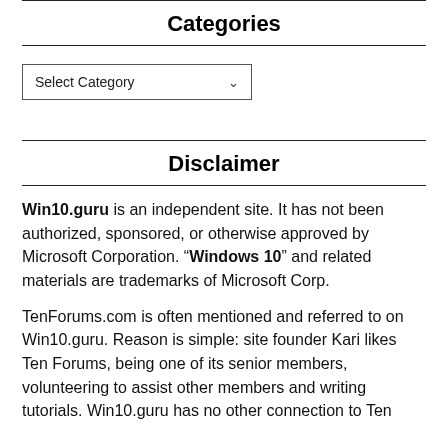Categories
[Figure (other): A dropdown select box labeled 'Select Category' with a chevron arrow]
Disclaimer
Win10.guru is an independent site. It has not been authorized, sponsored, or otherwise approved by Microsoft Corporation. "Windows 10" and related materials are trademarks of Microsoft Corp.
TenForums.com is often mentioned and referred to on Win10.guru. Reason is simple: site founder Kari likes Ten Forums, being one of its senior members, volunteering to assist other members and writing tutorials. Win10.guru has no other connection to Ten